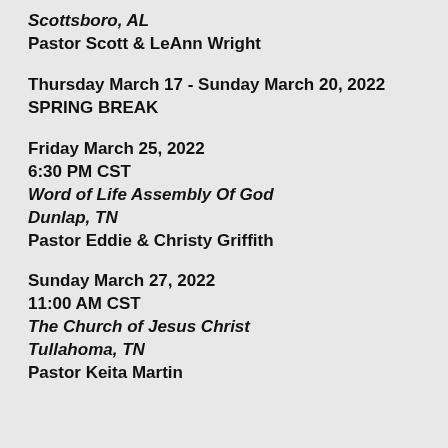Scottsboro, AL
Pastor Scott & LeAnn Wright
Thursday March 17 - Sunday March 20, 2022
SPRING BREAK
Friday March 25, 2022
6:30 PM CST
Word of Life Assembly Of God
Dunlap, TN
Pastor Eddie & Christy Griffith
Sunday March 27, 2022
11:00 AM CST
The Church of Jesus Christ
Tullahoma, TN
Pastor Keita Martin